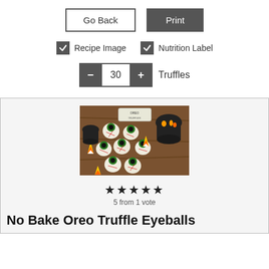[Figure (screenshot): Go Back button (outlined) and Print button (dark filled) side by side]
[Figure (screenshot): Two checkboxes: Recipe Image (checked) and Nutrition Label (checked)]
[Figure (screenshot): Counter control showing minus button, 30, plus button, and label Truffles]
[Figure (photo): Photo of No Bake Oreo Truffle Eyeballs on a wooden surface with candy corn and a black cauldron]
[Figure (infographic): 5 filled stars rating]
5 from 1 vote
No Bake Oreo Truffle Eyeballs